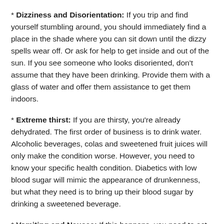* Dizziness and Disorientation: If you trip and find yourself stumbling around, you should immediately find a place in the shade where you can sit down until the dizzy spells wear off. Or ask for help to get inside and out of the sun. If you see someone who looks disoriented, don't assume that they have been drinking. Provide them with a glass of water and offer them assistance to get them indoors.
* Extreme thirst: If you are thirsty, you're already dehydrated. The first order of business is to drink water. Alcoholic beverages, colas and sweetened fruit juices will only make the condition worse. However, you need to know your specific health condition. Diabetics with low blood sugar will mimic the appearance of drunkenness, but what they need is to bring up their blood sugar by drinking a sweetened beverage.
* Vomiting and Nausea: If this happens, you need to act fast before heat stroke renders you unconscious. If food poisoning can be ruled out, the first order of business is to go somewhere where it is cooler.